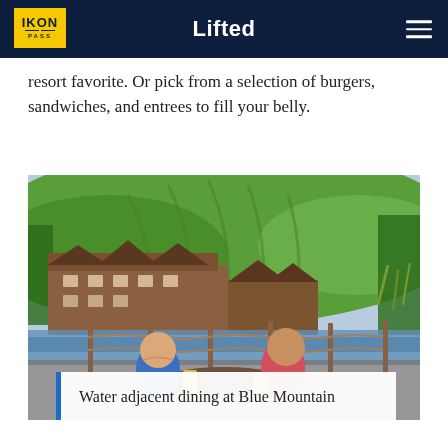Lifted
resort favorite. Or pick from a selection of burgers, sandwiches, and entrees to fill your belly.
[Figure (photo): Two women sitting at an outdoor waterside table, each holding a glass of beer, with a large resort building and green hills in the background at Blue Mountain.]
Water adjacent dining at Blue Mountain